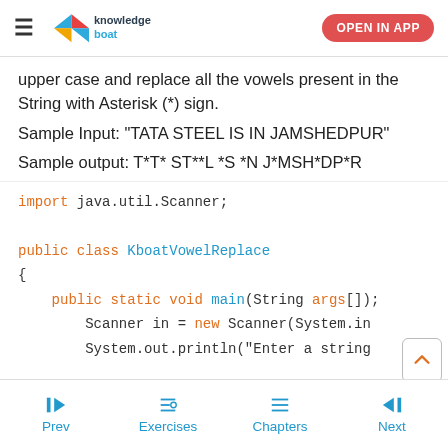KnowledgeBoat — OPEN IN APP
upper case and replace all the vowels present in the String with Asterisk (*) sign.
Sample Input: "TATA STEEL IS IN JAMSHEDPUR"
Sample output: T*T* ST**L *S *N J*MSH*DP*R
import java.util.Scanner;

public class KboatVowelReplace
{
    public static void main(String args[]){
        Scanner in = new Scanner(System.in
        System.out.println("Enter a string